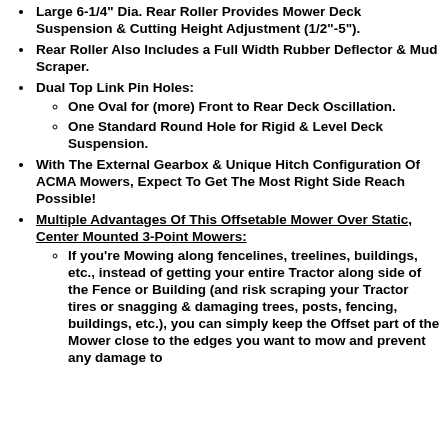Large 6-1/4" Dia. Rear Roller Provides Mower Deck Suspension & Cutting Height Adjustment (1/2"-5").
Rear Roller Also Includes a Full Width Rubber Deflector & Mud Scraper.
Dual Top Link Pin Holes:
One Oval for (more) Front to Rear Deck Oscillation.
One Standard Round Hole for Rigid & Level Deck Suspension.
With The External Gearbox & Unique Hitch Configuration Of ACMA Mowers, Expect To Get The Most Right Side Reach Possible!
Multiple Advantages Of This Offsetable Mower Over Static, Center Mounted 3-Point Mowers:
If you're Mowing along fencelines, treelines, buildings, etc., instead of getting your entire Tractor along side of the Fence or Building (and risk scraping your Tractor tires or snagging & damaging trees, posts, fencing, buildings, etc.), you can simply keep the Offset part of the Mower close to the edges you want to mow and prevent any damage to